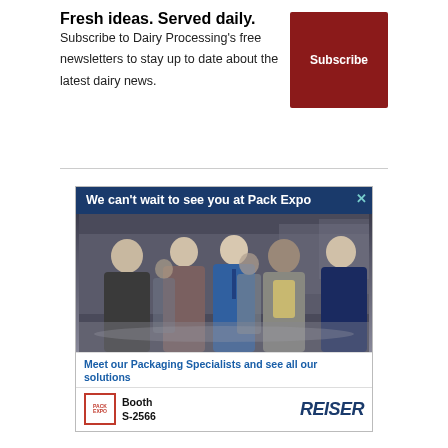Fresh ideas. Served daily.
Subscribe to Dairy Processing's free newsletters to stay up to date about the latest dairy news.
[Figure (other): Red Subscribe button]
[Figure (other): Advertisement for Reiser at Pack Expo. Shows crowd of business people at trade show. Text: 'We can't wait to see you at Pack Expo', 'Meet our Packaging Specialists and see all our solutions', Booth S-2566, REISER logo.]